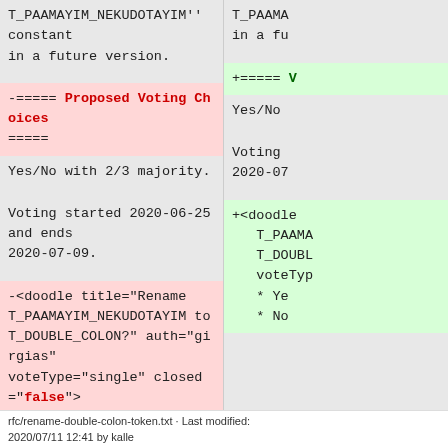T_PAAMAYIM_NEKUDOTAYIM'' constant in a future version.
-===== Proposed Voting Choices =====
Yes/No with 2/3 majority.
Voting started 2020-06-25 and ends 2020-07-09.
-<doodle title="Rename T_PAAMAYIM_NEKUDOTAYIM to T_DOUBLE_COLON?" auth="girgias" voteType="single" closed="false">
    * Yes
    * No
+===== V
Yes/No
Voting
2020-07
+<doodle
 T_PAAMA
 T_DOUBL
 voteTyp
    * Ye
    * No
rfc/rename-double-colon-token.txt · Last modified: 2020/07/11 12:41 by kalle